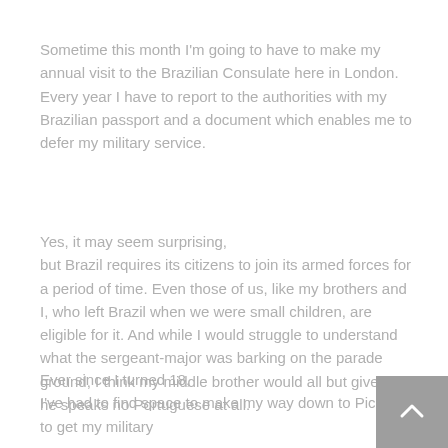Sometime this month I'm going to have to make my annual visit to the Brazilian Consulate here in London. Every year I have to report to the authorities with my Brazilian passport and a document which enables me to defer my military service.
Yes, it may seem surprising, but Brazil requires its citizens to join its armed forces for a period of time. Even those of us, like my brothers and I, who left Brazil when we were small children, are eligible for it. And while I would struggle to understand what the sergeant-major was barking on the parade ground, I think my middle brother would all but give up: he speaks no Portuguese at all.
Ever since I turned 18, I've had to find space to make my way down to Piccadilly to get my military